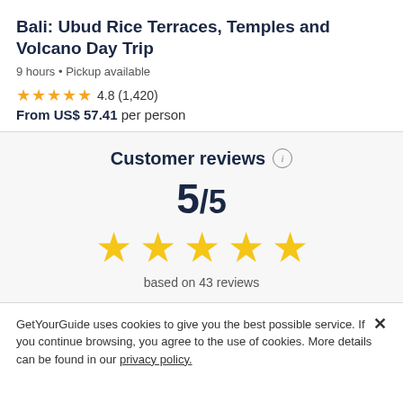Bali: Ubud Rice Terraces, Temples and Volcano Day Trip
9 hours • Pickup available
★★★★★ 4.8 (1,420)
From US$ 57.41 per person
Customer reviews
5/5
based on 43 reviews
GetYourGuide uses cookies to give you the best possible service. If you continue browsing, you agree to the use of cookies. More details can be found in our privacy policy.